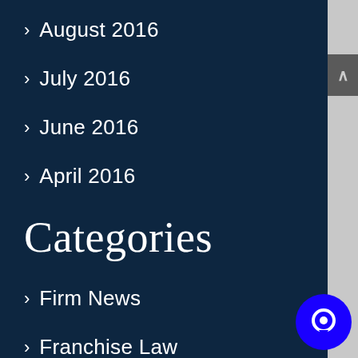> August 2016
> July 2016
> June 2016
> April 2016
Categories
> Firm News
> Franchise Law